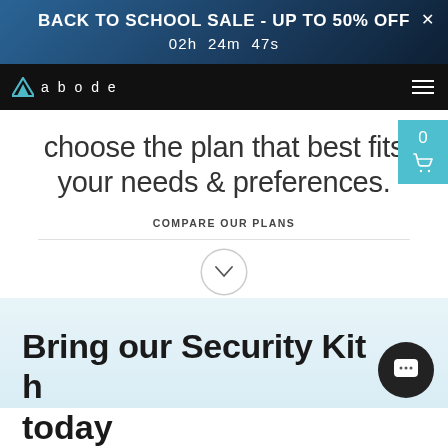BACK TO SCHOOL SALE - UP TO 50% OFF
02h  24m  47s
[Figure (screenshot): Abode security brand navigation bar with logo (triangle icon) and hamburger menu on black background]
choose the plan that best fits your needs & preferences.
COMPARE OUR PLANS
[Figure (other): Circular chevron down button]
Bring our Security Kit home today